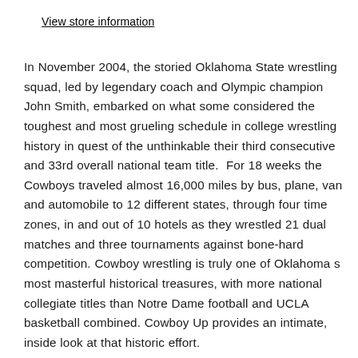View store information
In November 2004, the storied Oklahoma State wrestling squad, led by legendary coach and Olympic champion John Smith, embarked on what some considered the toughest and most grueling schedule in college wrestling history in quest of the unthinkable their third consecutive and 33rd overall national team title. For 18 weeks the Cowboys traveled almost 16,000 miles by bus, plane, van and automobile to 12 different states, through four time zones, in and out of 10 hotels as they wrestled 21 dual matches and three tournaments against bone-hard competition. Cowboy wrestling is truly one of Oklahoma s most masterful historical treasures, with more national collegiate titles than Notre Dame football and UCLA basketball combined. Cowboy Up provides an intimate, inside look at that historic effort. Coach Smith...